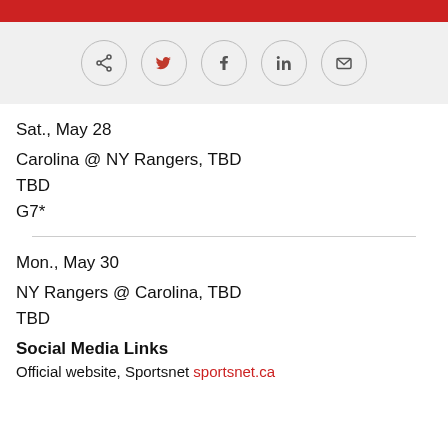[Figure (other): Social sharing icons bar with share, Twitter, Facebook, LinkedIn, and email circle buttons on a grey background]
Sat., May 28
Carolina @ NY Rangers, TBD
TBD
G7*
Mon., May 30
NY Rangers @ Carolina, TBD
TBD
Social Media Links
Official website, Sportsnet sportsnet.ca